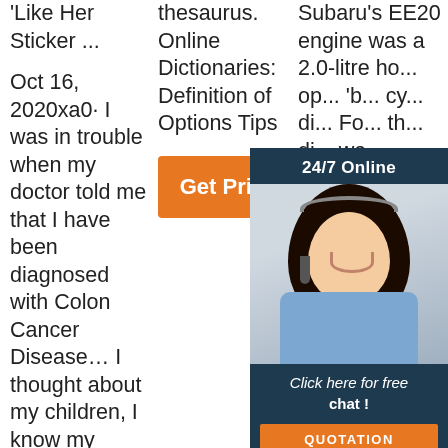'Like Her Sticker ...
Oct 16, 2020xa0· I was in trouble when my doctor told me that I have been diagnosed with Colon Cancer Disease… I thought about my children, I know my children will face a serious problem when
thesaurus. Online Dictionaries: Definition of Options Tips
[Figure (other): Orange 'Get Price' button]
[Figure (infographic): 24/7 Online chat widget with customer service representative photo, 'Click here for free chat!' text, and orange QUOTATION button]
Subaru's EE20 engine was a 2.0-litre horizontally-op... 'b... cy... di... Fo... th... di... wa... offered in the Subaru BR Outback 2009 and subsequently